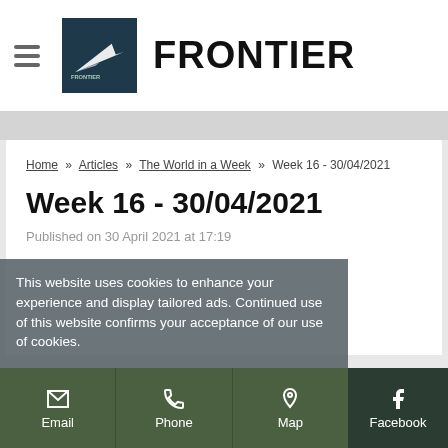FRONTIER
Home » Articles » The World in a Week » Week 16 - 30/04/2021
Week 16 - 30/04/2021
Published on 30 April 2021 at 17:19
This website uses cookies to enhance your experience and display tailored ads. Continued use of this website confirms your acceptance of our use of cookies.
Email  Phone  Map  Facebook